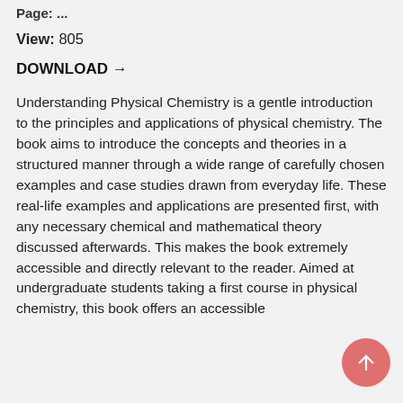Page: ...
View: 805
DOWNLOAD →
Understanding Physical Chemistry is a gentle introduction to the principles and applications of physical chemistry. The book aims to introduce the concepts and theories in a structured manner through a wide range of carefully chosen examples and case studies drawn from everyday life. These real-life examples and applications are presented first, with any necessary chemical and mathematical theory discussed afterwards. This makes the book extremely accessible and directly relevant to the reader. Aimed at undergraduate students taking a first course in physical chemistry, this book offers an accessible